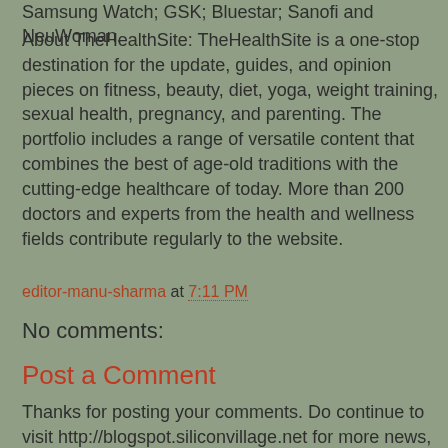Samsung Watch; GSK; Bluestar; Sanofi and NeuWoman.
About TheHealthSite: TheHealthSite is a one-stop destination for the update, guides, and opinion pieces on fitness, beauty, diet, yoga, weight training, sexual health, pregnancy, and parenting. The portfolio includes a range of versatile content that combines the best of age-old traditions with the cutting-edge healthcare of today. More than 200 doctors and experts from the health and wellness fields contribute regularly to the website.
editor-manu-sharma at 7:11 PM
No comments:
Post a Comment
Thanks for posting your comments. Do continue to visit http://blogspot.siliconvillage.net for more news, features and interviews in business, technology, gadgets related areas.